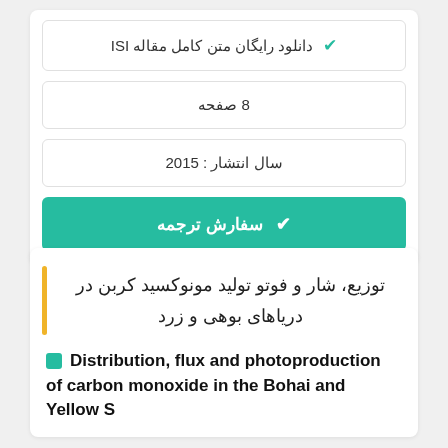✔ دانلود رایگان متن کامل مقاله ISI
8 صفحه
سال انتشار : 2015
✔ سفارش ترجمه
توزیع، شار و فوتو تولید مونوکسید کربن در دریاهای بوهی و زرد
Distribution, flux and photoproduction of carbon monoxide in the Bohai and Yellow S...